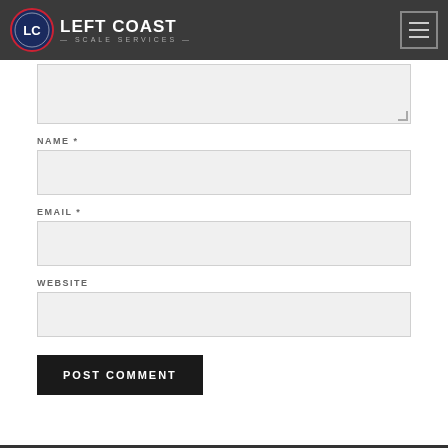LEFT COAST SCALE SERVICES
NAME *
EMAIL *
WEBSITE
POST COMMENT